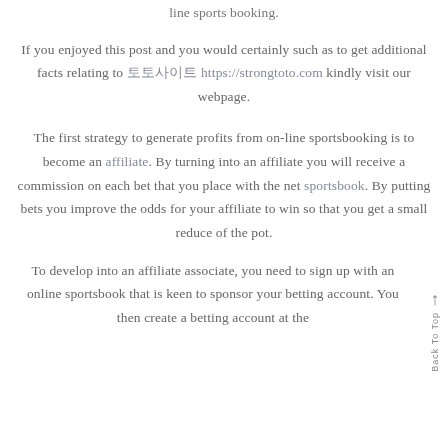line sports booking.
If you enjoyed this post and you would certainly such as to get additional facts relating to 토토사이트 https://strongtoto.com kindly visit our webpage.
The first strategy to generate profits from on-line sportsbooking is to become an affiliate. By turning into an affiliate you will receive a commission on each bet that you place with the net sportsbook. By putting bets you improve the odds for your affiliate to win so that you get a small reduce of the pot.
To develop into an affiliate associate, you need to sign up with an online sportsbook that is keen to sponsor your betting account. You then create a betting account at the